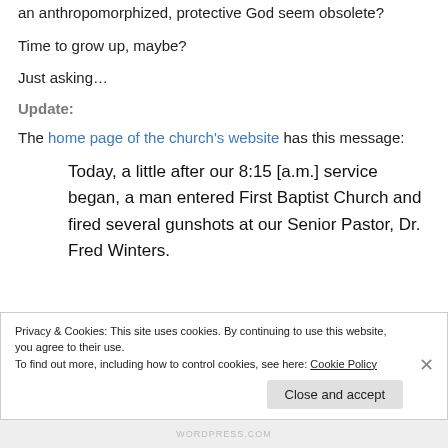an anthropomorphized, protective God seem obsolete?
Time to grow up, maybe?
Just asking…
Update:
The home page of the church's website has this message:
Today, a little after our 8:15 [a.m.] service began, a man entered First Baptist Church and fired several gunshots at our Senior Pastor, Dr. Fred Winters.
Privacy & Cookies: This site uses cookies. By continuing to use this website, you agree to their use.
To find out more, including how to control cookies, see here: Cookie Policy